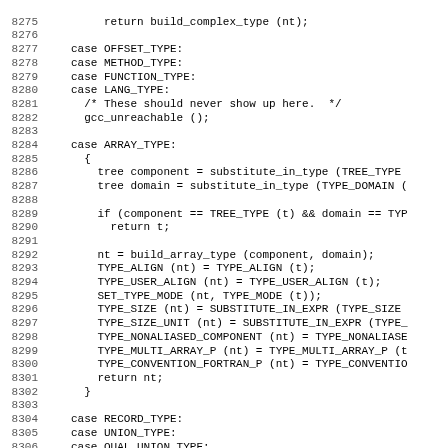[Figure (screenshot): Source code listing showing lines 8275-8306 of a C/C++ file with line numbers on the left and code on the right, including case statements for OFFSET_TYPE, METHOD_TYPE, FUNCTION_TYPE, LANG_TYPE, ARRAY_TYPE, RECORD_TYPE, UNION_TYPE, and QUAL_UNION_TYPE.]